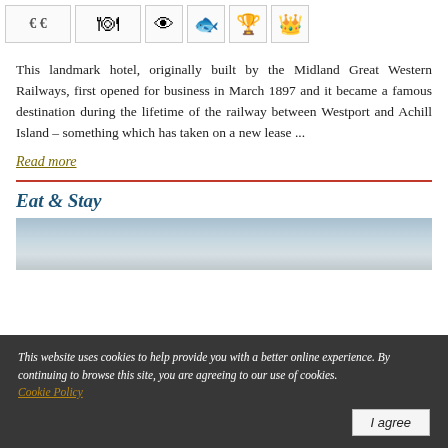[Figure (other): Row of icon buttons: euro price indicator (€€), restaurant/dining icon, eye/view icon, fish icon, trophy icon, crown icon]
This landmark hotel, originally built by the Midland Great Western Railways, first opened for business in March 1897 and it became a famous destination during the lifetime of the railway between Westport and Achill Island – something which has taken on a new lease ...
Read more
Eat & Stay
[Figure (photo): Partial photo showing sky and landscape, mostly sky/water tones]
This website uses cookies to help provide you with a better online experience. By continuing to browse this site, you are agreeing to our use of cookies. Cookie Policy  I agree